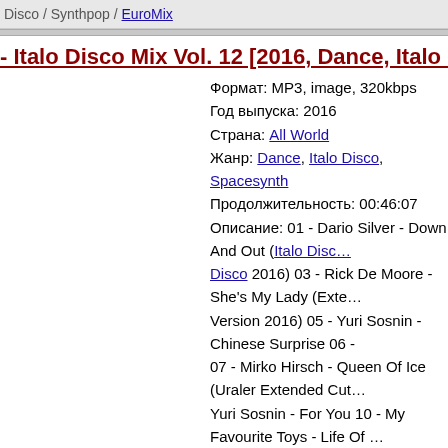Disco / Synthpop / EuroMix
- Italo Disco Mix Vol. 12 [2016, Dance, Italo Disc…
Формат: MP3, image, 320kbps
Год выпуска: 2016
Страна: All World
Жанр: Dance, Italo Disco, Spacesynth
Продолжительность: 00:46:07
Описание: 01 - Dario Silver - Down And Out (Italo Disco 2016) 03 - Rick De Moore - She's My Lady (Exte… Version 2016) 05 - Yuri Sosnin - Chinese Surprise 06 - … 07 - Mirko Hirsch - Queen Of Ice (Uraler Extended Cut… Yuri Sosnin - For You 10 - My Favourite Toys - Life Of …
Disco / Synthpop / EuroMix
New Italo Disco Forever Mix Vol.12 [2016, Italo D…
Формат: MP3, image, 320kb…